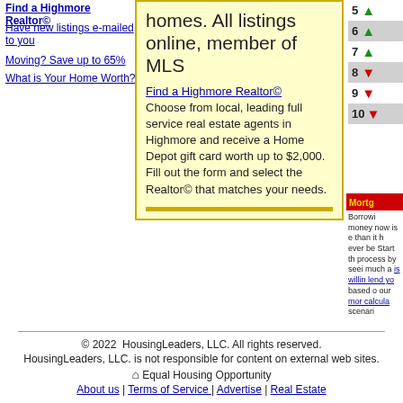Find a Highmore Realtor©
Have new listings e-mailed to you
Moving? Save up to 65%
What is Your Home Worth?
homes. All listings online, member of MLS
Find a Highmore Realtor© Choose from local, leading full service real estate agents in Highmore and receive a Home Depot gift card worth up to $2,000. Fill out the form and select the Realtor© that matches your needs.
5 ▲ 6 ▲ 7 ▲ 8 ▼ 9 ▼ 10 ▼
Mortg... Borrowing money now is easier than it has ever been. Start the process by seeing how much a lender is willing to lend you based on our mortgage calculator scenarios.
© 2022 HousingLeaders, LLC. All rights reserved. HousingLeaders, LLC. is not responsible for content on external web sites. ⌂ Equal Housing Opportunity About us | Terms of Service | Advertise | Real Estate